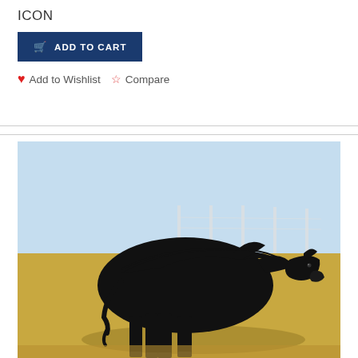ICON
ADD TO CART
Add to Wishlist  Compare
[Figure (photo): Side profile photo of a black Angus bull standing on dry grass field with a light blue sky in the background. The animal is facing right, showing a well-muscled, stocky build typical of show cattle.]